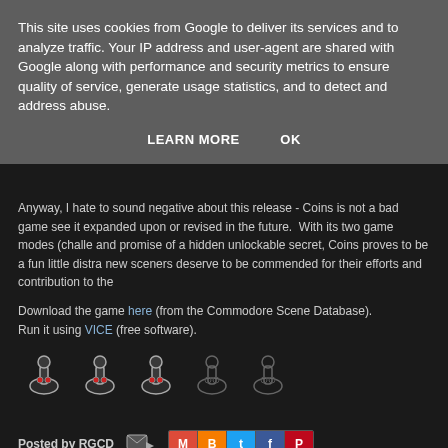This site uses cookies from Google to deliver its services and to analyze traffic. Your IP address and user-agent are shared with Google along with performance and security metrics to ensure quality of service, generate usage statistics, and to detect and address abuse.
LEARN MORE   OK
Anyway, I hate to sound negative about this release - Coins is not a bad game see it expanded upon or revised in the future. With its two game modes (challe and promise of a hidden unlockable secret, Coins proves to be a fun little distra new sceners deserve to be commended for their efforts and contribution to the
Download the game here (from the Commodore Scene Database). Run it using VICE (free software).
[Figure (illustration): Five joystick rating icons in a row - three colored/active joysticks and two outline/inactive joysticks, used as a star-rating style score of 3 out of 5]
Posted by RGCD
Topics: C64, retro homebrew